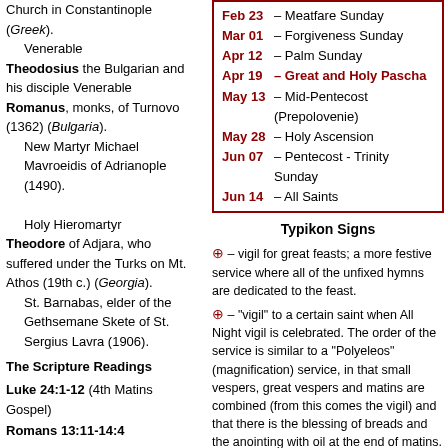Church in Constantinople (Greek). Venerable Theodosius the Bulgarian and his disciple Venerable Romanus, monks, of Turnovo (1362) (Bulgaria). New Martyr Michael Mavroeidis of Adrianople (1490). Holy Hieromartyr Theodore of Adjara, who suffered under the Turks on Mt. Athos (19th c.) (Georgia). St. Barnabas, elder of the Gethsemane Skete of St. Sergius Lavra (1906).
The Scripture Readings
Luke 24:1-12 (4th Matins Gospel)
Romans 13:11-14:4
Matthew 6:14-21
HIDE TROPARIA
| Date | Event |
| --- | --- |
| Feb 23 | Meatfare Sunday |
| Mar 01 | Forgiveness Sunday |
| Apr 12 | Palm Sunday |
| Apr 19 | Great and Holy Pascha |
| May 13 | Mid-Pentecost (Prepolovenie) |
| May 28 | Holy Ascension |
| Jun 07 | Pentecost - Trinity Sunday |
| Jun 14 | All Saints |
Typikon Signs
⊕ – vigil for great feasts; a more festive service where all of the unfixed hymns are dedicated to the feast.
⊕ – "vigil" to a certain saint when All Night vigil is celebrated. The order of the service is similar to a "Polyeleos" (magnification) service, in that small vespers, great vespers and matins are combined (from this comes the vigil) and that there is the blessing of breads and the anointing with oil at the end of matins.
+ – "cross", "Polyeleos", "with the Polyeleos", "Polyeleos service", that is the type of service during which the "Polyeleos" (Praise/Magnification) is sung during matins (the majestic singing of the 134 and 135 psalms with verses); in addition, during this service there is a reading from the Gospel, the prokeimenon, gradual antiphons, the canon with 8 troparions, the praises and Great Doxology are sung, and during vespers "Blessed is the man" is sung (first